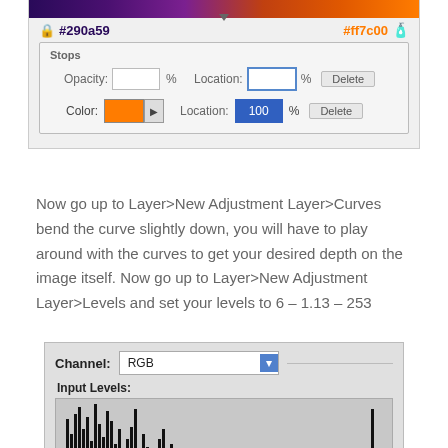[Figure (screenshot): Gradient editor screenshot showing a purple-to-orange gradient with Stops panel. Color swatch shows #ff7c00 at Location 100%. Delete buttons visible.]
Now go up to Layer>New Adjustment Layer>Curves bend the curve slightly down, you will have to play around with the curves to get your desired depth on the image itself. Now go up to Layer>New Adjustment Layer>Levels and set your levels to 6 – 1.13 – 253
[Figure (screenshot): Photoshop Levels dialog showing Channel: RGB dropdown and Input Levels histogram with data skewed to the left side.]